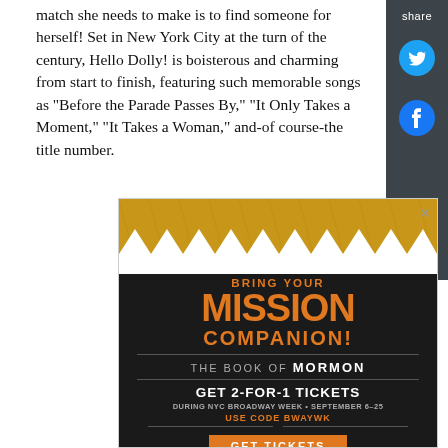match she needs to make is to find someone for herself! Set in New York City at the turn of the century, Hello Dolly! is boisterous and charming from start to finish, featuring such memorable songs as "Before the Parade Passes By," "It Only Takes a Moment," "It Takes a Woman," and-of course-the title number.
[Figure (infographic): Advertisement for The Book of Mormon musical. Gold zigzag banner at top. Text reads: BRING YOUR MISSION COMPANION! THE BOOK OF MORMON. GET 2-FOR-1 TICKETS DURING NYC BROADWAY WEEK • SEPTEMBER 6–25. USE CODE BWAYWK. GET TICKETS button.]